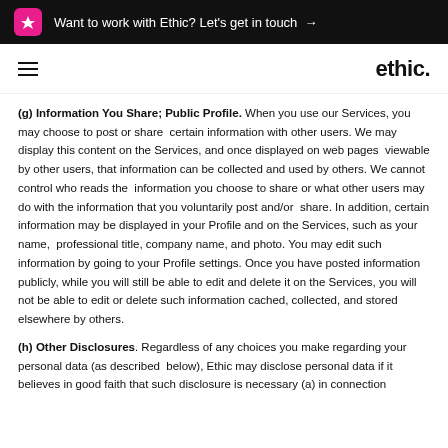Want to work with Ethic? Let's get in touch →
ethic.
(g) Information You Share; Public Profile. When you use our Services, you may choose to post or share certain information with other users. We may display this content on the Services, and once displayed on web pages viewable by other users, that information can be collected and used by others. We cannot control who reads the information you choose to share or what other users may do with the information that you voluntarily post and/or share. In addition, certain information may be displayed in your Profile and on the Services, such as your name, professional title, company name, and photo. You may edit such information by going to your Profile settings. Once you have posted information publicly, while you will still be able to edit and delete it on the Services, you will not be able to edit or delete such information cached, collected, and stored elsewhere by others.
(h) Other Disclosures. Regardless of any choices you make regarding your personal data (as described below), Ethic may disclose personal data if it believes in good faith that such disclosure is necessary (a) in connection